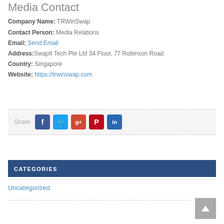Media Contact
Company Name: TRWinSwap
Contact Person: Media Relations
Email: Send Email
Address: SwapIt Tech Pte Ltd 34 Floor, 77 Robinson Road
Country: Singapore
Website: https://trwinswap.com
[Figure (infographic): Share bar with social media icons: Facebook, Twitter, Google+, Pinterest, LinkedIn]
CATEGORIES
Uncategorized